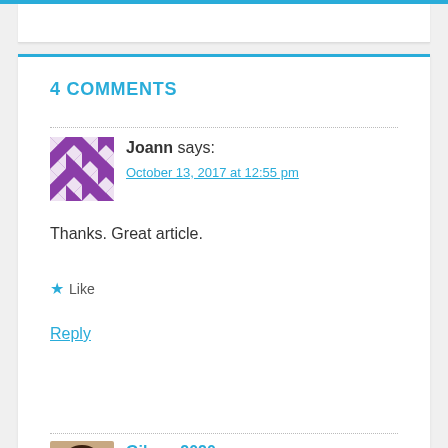4 COMMENTS
Joann says:
October 13, 2017 at 12:55 pm
Thanks. Great article.
★ Like
Reply
[Figure (illustration): Purple geometric avatar with triangles and diamond shapes]
Gilman2020 says:
October 13, 2017 at 12:58 pm
[Figure (photo): Profile photo of a smiling woman with dark hair]